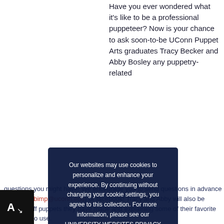Have you ever wondered what it's like to be a professional puppeteer? Now is your chance to ask soon-to-be UConn Puppet Arts graduates Tracy Becker and Abby Bosley any puppetry-related questions you might have! We encourage you to send questions in advance via email (bimp@uconn.edu) or facebook! Tracy and Abby will also be showing off puppets they have made and explaining some of their favorite materials to use.
Wednesday, EMR... with Elise Vanase
Our websites may use cookies to personalize and enhance your experience. By continuing without changing your cookie settings, you agree to this collection. For more information, please see our UNIVERSITY WEBSITES PRIVACY NOTICE.
OK
...mber making paper ...in school? Come see how this classic game can be turned into a puppet!